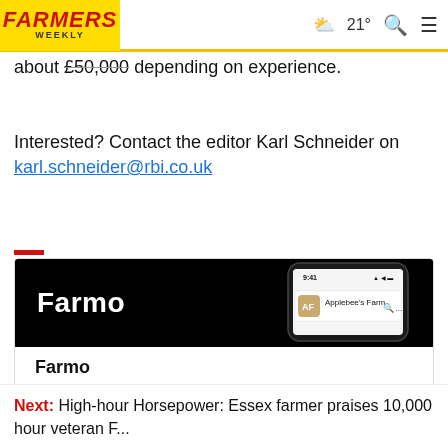FARMERS WEEKLY | 21° | Search | Menu
about £50,000 depending on experience.
Interested? Contact the editor Karl Schneider on karl.schneider@rbi.co.uk
[Figure (screenshot): Farmo app banner showing dark background with 'Farmo' logo text in white on the left and a smartphone mockup on the right displaying 'Applebee's Farm' in an app interface at 9:41]
Farmo
Using contractors saves you time and money. Now you can also let contractors calling on you. Register f...
Next: High-hour Horsepower: Essex farmer praises 10,000 hour veteran F...